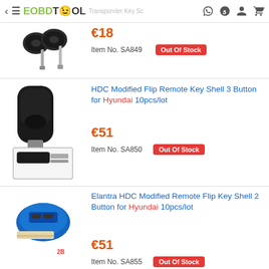EOBDTOOL - Transponder Key Solution & Remote
[Figure (photo): Two car transponder keys (black head, metal blade) for item SA849]
€18
Item No. SA849   Out Of Stock
HDC Modified Flip Remote Key Shell 3 Button for Hyundai 10pcs/lot
[Figure (photo): Black HDC flip remote key shell for Hyundai (main view and thumbnail showing unfolded key blade), item SA850]
€51
Item No. SA850   Out Of Stock
Elantra HDC Modified Remote Flip Key Shell 2 Button for Hyundai 10pcs/lot
[Figure (photo): Blue Elantra HDC modified remote flip key shell 2B for Hyundai, item SA855]
€51
Item No. SA855   Out Of Stock